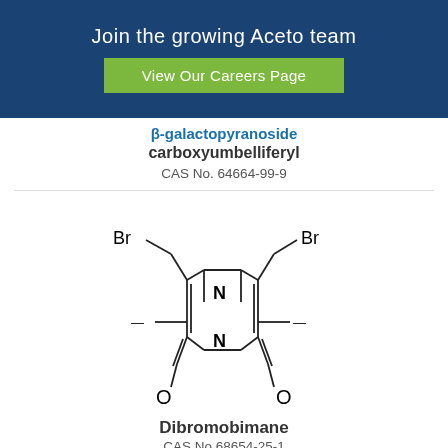Join the growing Aceto team
View Our Careers Page
β-galactopyranoside carboxyumbelliferyl
CAS No. 64664-99-9
[Figure (engineering-diagram): Chemical structure of Dibromobimane showing a bicyclic ring system with two bromomethyl groups (CH2Br) at the top, two methyl groups on the sides, two carbonyl groups (C=O) at the bottom, and N-N linkage in the center ring.]
Dibromobimane
CAS No 68654-25-1
[Figure (engineering-diagram): Partial chemical structure showing two carbonyl groups (C=O) with double bond indicators visible at the bottom of the page.]